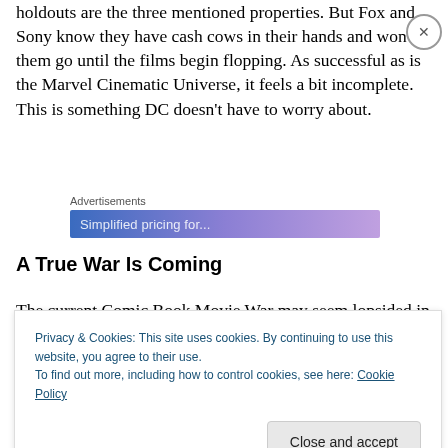holdouts are the three mentioned properties. But Fox and Sony know they have cash cows in their hands and won't let them go until the films begin flopping. As successful as is the Marvel Cinematic Universe, it feels a bit incomplete. This is something DC doesn't have to worry about.
[Figure (other): Advertisements banner with blue-purple gradient and partial text 'Simplified pricing for...']
A True War Is Coming
The current Comic Book Movie War may seem lopsided in
Privacy & Cookies: This site uses cookies. By continuing to use this website, you agree to their use.
To find out more, including how to control cookies, see here: Cookie Policy
Close and accept